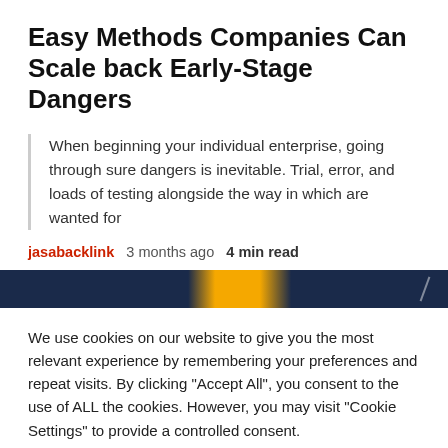Easy Methods Companies Can Scale back Early-Stage Dangers
When beginning your individual enterprise, going through sure dangers is inevitable. Trial, error, and loads of testing alongside the way in which are wanted for
jasabacklink  3 months ago  4 min read
[Figure (photo): Dark blue and orange banner image with a diagonal slash element on the right side]
We use cookies on our website to give you the most relevant experience by remembering your preferences and repeat visits. By clicking "Accept All", you consent to the use of ALL the cookies. However, you may visit "Cookie Settings" to provide a controlled consent.
Cookie Settings  Accept All